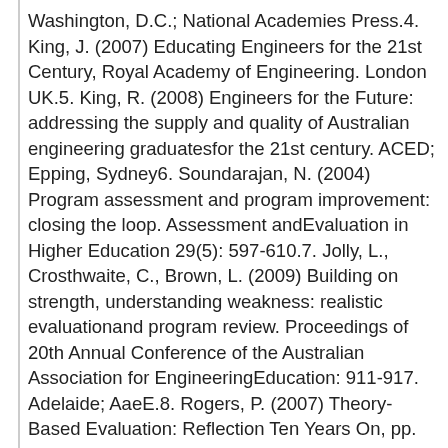Washington, D.C.; National Academies Press.4. King, J. (2007) Educating Engineers for the 21st Century, Royal Academy of Engineering. London UK.5. King, R. (2008) Engineers for the Future: addressing the supply and quality of Australian engineering graduatesfor the 21st century. ACED; Epping, Sydney6. Soundarajan, N. (2004) Program assessment and program improvement: closing the loop. Assessment andEvaluation in Higher Education 29(5): 597-610.7. Jolly, L., Crosthwaite, C., Brown, L. (2009) Building on strength, understanding weakness: realistic evaluationand program review. Proceedings of 20th Annual Conference of the Australian Association for EngineeringEducation: 911-917. Adelaide; AaeE.8. Rogers, P. (2007) Theory-Based Evaluation: Reflection Ten Years On, pp. 63-82